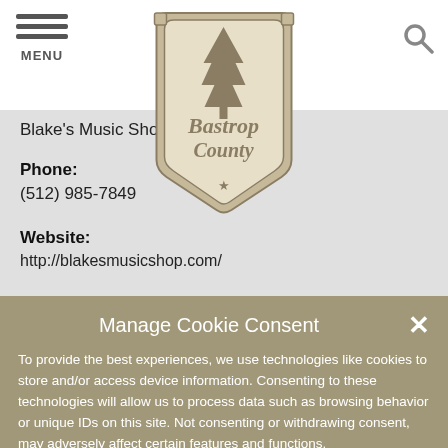MENU
[Figure (logo): Bastrop County shield logo with tree and script text]
Blake's Music Shop
Phone:
(512) 985-7849
Website:
http://blakesmusicshop.com/
Manage Cookie Consent
To provide the best experiences, we use technologies like cookies to store and/or access device information. Consenting to these technologies will allow us to process data such as browsing behavior or unique IDs on this site. Not consenting or withdrawing consent, may adversely affect certain features and functions.
Accept
Cookie Policy   Privacy Statement